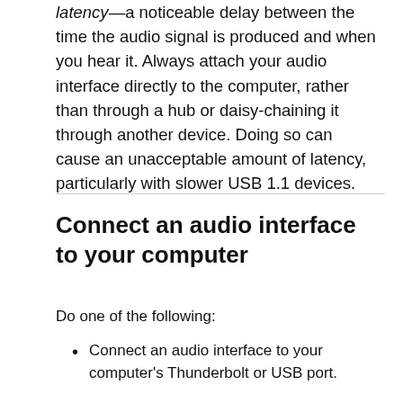latency—a noticeable delay between the time the audio signal is produced and when you hear it. Always attach your audio interface directly to the computer, rather than through a hub or daisy-chaining it through another device. Doing so can cause an unacceptable amount of latency, particularly with slower USB 1.1 devices.
Connect an audio interface to your computer
Do one of the following:
Connect an audio interface to your computer's Thunderbolt or USB port.